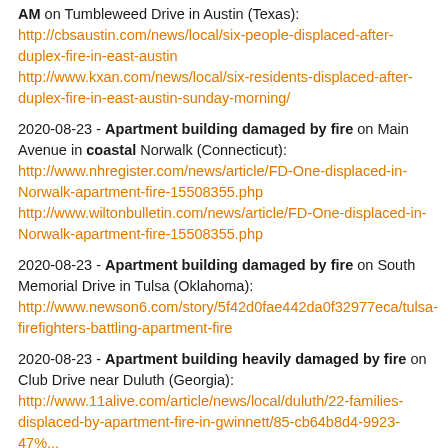AM on Tumbleweed Drive in Austin (Texas): http://cbsaustin.com/news/local/six-people-displaced-after-duplex-fire-in-east-austin http://www.kxan.com/news/local/six-residents-displaced-after-duplex-fire-in-east-austin-sunday-morning/
2020-08-23 - Apartment building damaged by fire on Main Avenue in coastal Norwalk (Connecticut): http://www.nhregister.com/news/article/FD-One-displaced-in-Norwalk-apartment-fire-15508355.php http://www.wiltonbulletin.com/news/article/FD-One-displaced-in-Norwalk-apartment-fire-15508355.php
2020-08-23 - Apartment building damaged by fire on South Memorial Drive in Tulsa (Oklahoma): http://www.newson6.com/story/5f42d0fae442da0f32977eca/tulsa-firefighters-battling-apartment-fire
2020-08-23 - Apartment building heavily damaged by fire on Club Drive near Duluth (Georgia): http://www.11alive.com/article/news/local/duluth/22-families-displaced-by-apartment-fire-in-gwinnett/85-cb64b8d4-9923-47...